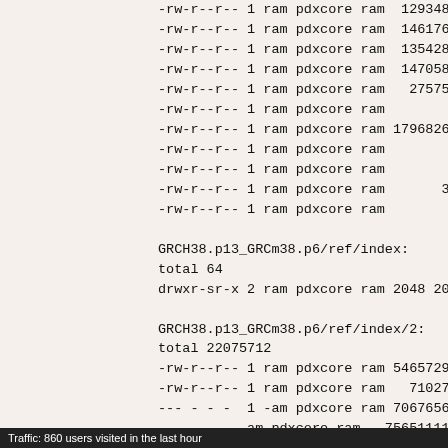-rw-r--r-- 1 ram pdxcore ram  129348469
-rw-r--r-- 1 ram pdxcore ram  146176565
-rw-r--r-- 1 ram pdxcore ram  135428456
-rw-r--r-- 1 ram pdxcore ram  147058547
-rw-r--r-- 1 ram pdxcore ram   27575390
-rw-r--r-- 1 ram pdxcore ram        742
-rw-r--r-- 1 ram pdxcore ram 1796826715
-rw-r--r-- 1 ram pdxcore ram         12
-rw-r--r-- 1 ram pdxcore ram        125
-rw-r--r-- 1 ram pdxcore ram       3927
-rw-r--r-- 1 ram pdxcore ram        349

GRCH38.p13_GRCm38.p6/ref/index:
total 64
drwxr-sr-x 2 ram pdxcore ram 2048 2022-

GRCH38.p13_GRCm38.p6/ref/index/2:
total 22075712
-rw-r--r-- 1 ram pdxcore ram 5465729975
-rw-r--r-- 1 ram pdxcore ram   71027559
--- - - -  1 -am pdxcore ram 7067656551
           am pdxcore ram   75651111
Traffic: 860 users visited in the last hour